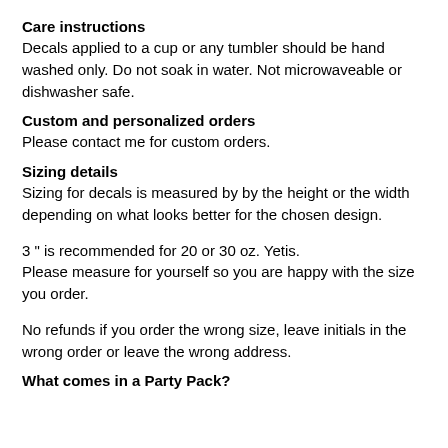Care instructions
Decals applied to a cup or any tumbler should be hand washed only. Do not soak in water. Not microwaveable or dishwasher safe.
Custom and personalized orders
Please contact me for custom orders.
Sizing details
Sizing for decals is measured by by the height or the width depending on what looks better for the chosen design.
3 " is recommended for 20 or 30 oz. Yetis.
Please measure for yourself so you are happy with the size you order.
No refunds if you order the wrong size, leave initials in the wrong order or leave the wrong address.
What comes in a Party Pack?